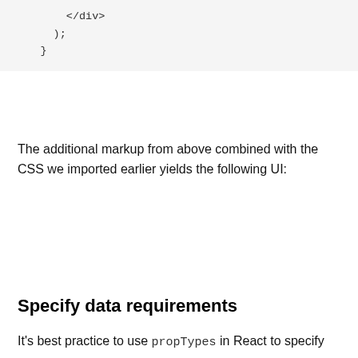[Figure (screenshot): Code block showing closing HTML tags: </div>, );, }]
The additional markup from above combined with the CSS we imported earlier yields the following UI:
Specify data requirements
It’s best practice to use propTypes in React to specify